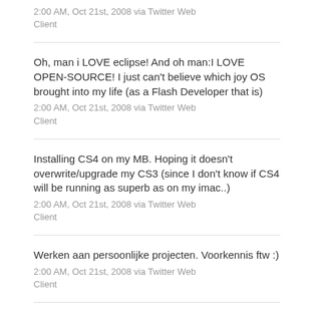2:00 AM, Oct 21st, 2008 via Twitter Web Client
Oh, man i LOVE eclipse! And oh man:I LOVE OPEN-SOURCE! I just can't believe which joy OS brought into my life (as a Flash Developer that is)
2:00 AM, Oct 21st, 2008 via Twitter Web Client
Installing CS4 on my MB. Hoping it doesn't overwrite/upgrade my CS3 (since I don't know if CS4 will be running as superb as on my imac..)
2:00 AM, Oct 21st, 2008 via Twitter Web Client
Werken aan persoonlijke projecten. Voorkennis ftw :)
2:00 AM, Oct 21st, 2008 via Twitter Web Client
@brightkite: Congrats to the iPhone